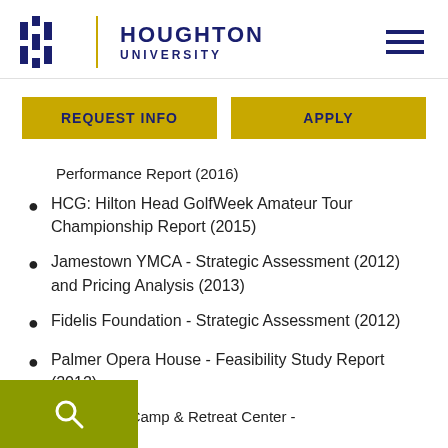Houghton University
Performance Report (2016)
HCG: Hilton Head GolfWeek Amateur Tour Championship Report (2015)
Jamestown YMCA - Strategic Assessment (2012) and Pricing Analysis (2013)
Fidelis Foundation - Strategic Assessment (2012)
Palmer Opera House - Feasibility Study Report (2012)
Penn-York Camp & Retreat Center -